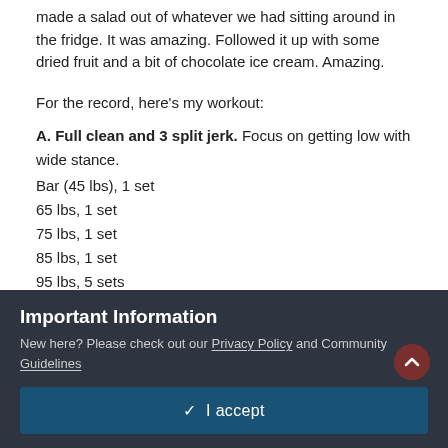made a salad out of whatever we had sitting around in the fridge.  It was amazing.  Followed it up with some dried fruit and a bit of chocolate ice cream.  Amazing.
For the record, here's my workout:
A.  Full clean and 3 split jerk.   Focus on getting low with wide stance.
Bar (45 lbs), 1 set
65 lbs, 1 set
75 lbs, 1 set
85 lbs, 1 set
95 lbs, 5 sets
105 lbs, 3 sets
115 lbs, 3 sets.
Important Information
New here? Please check out our Privacy Policy and Community Guidelines
✔  I accept